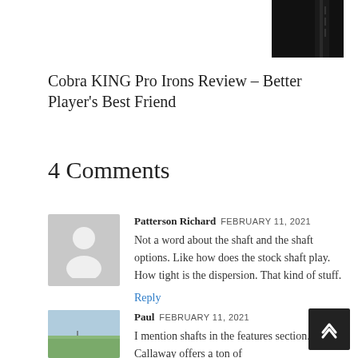[Figure (photo): Partial image of a dark-colored golf iron shaft/club against white background, top-right of page]
Cobra KING Pro Irons Review – Better Player's Best Friend
4 Comments
Patterson Richard FEBRUARY 11, 2021
Not a word about the shaft and the shaft options. Like how does the stock shaft play. How tight is the dispersion. That kind of stuff.
Reply
Paul FEBRUARY 11, 2021
I mention shafts in the features section. Callaway offers a ton of